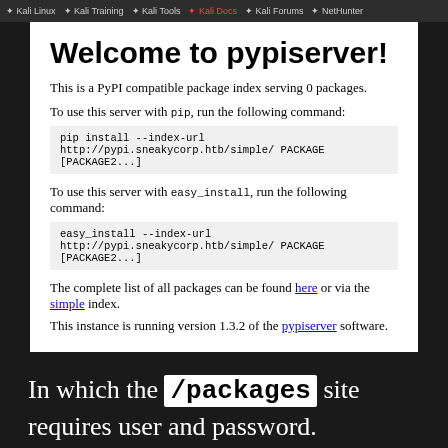Kali Linux  Kali Training  Kali Tools  Kali Docs  Kali Forums  NetHunter
Welcome to pypiserver!
This is a PyPI compatible package index serving 0 packages.
To use this server with pip, run the following command:
To use this server with easy_install, run the following command:
The complete list of all packages can be found here or via the simple index.
This instance is running version 1.3.2 of the pypiserver software.
In which the /packages site requires user and password.
[Figure (screenshot): Browser screenshot showing Error: 401 Unauthorized tab active, address bar showing pypi.sneakycorp.htb:8080/packages/, and an Authentication Required dialog box with text: http://pypi.sneakycorp.htb:8080 is requesting your username and password. The site says: 'pypi']